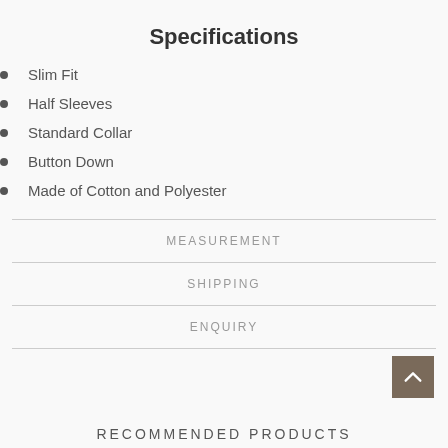Specifications
Slim Fit
Half Sleeves
Standard Collar
Button Down
Made of Cotton and Polyester
MEASUREMENT
SHIPPING
ENQUIRY
RECOMMENDED PRODUCTS